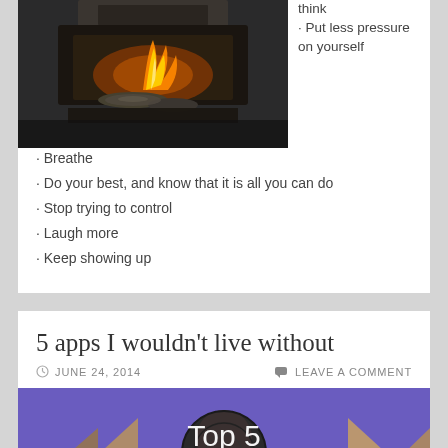[Figure (photo): Dark furnace/forge with flame and metal parts visible]
· Put less pressure on yourself
· Breathe
· Do your best, and know that it is all you can do
· Stop trying to control
· Laugh more
· Keep showing up
5 apps I wouldn't live without
JUNE 24, 2014   LEAVE A COMMENT
[Figure (photo): Top 5 apps image with person's head and decorative arrows on purple/blue background]